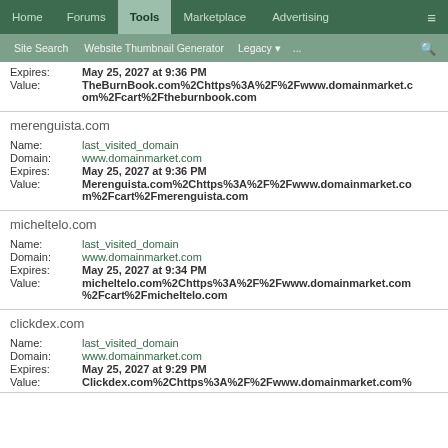Home | Forums | Tools | Marketplace | Advertising | ≡
Site Search | Website Thumbnail Generator | Legacy ▾ | ...
Expires: May 25, 2027 at 9:36 PM
Value: TheBurnBook.com%2Chttps%3A%2F%2Fwww.domainmarket.com%2Fcart%2Ftheburnbook.com
merenguista.com
Name: last_visited_domain
Domain: www.domainmarket.com
Expires: May 25, 2027 at 9:36 PM
Value: Merenguista.com%2Chttps%3A%2F%2Fwww.domainmarket.com%2Fcart%2Fmerenguista.com
micheltelo.com
Name: last_visited_domain
Domain: www.domainmarket.com
Expires: May 25, 2027 at 9:34 PM
Value: micheltelo.com%2Chttps%3A%2F%2Fwww.domainmarket.com%2Fcart%2Fmicheltelo.com
clickdex.com
Name: last_visited_domain
Domain: www.domainmarket.com
Expires: May 25, 2027 at 9:29 PM
Value: Clickdex.com%2Chttps%3A%2F%2Fwww.domainmarket.com%2Fcart%2Fclickdex.com